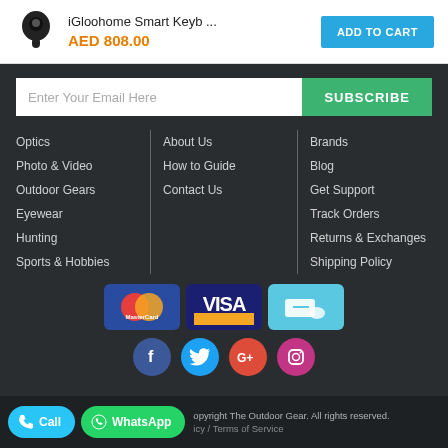[Figure (screenshot): Product bar showing iGloohome Smart Keyb ... product icon, price AED 808.00 in orange, and ADD TO CART button in blue]
Enter Your Email Here
SUBSCRIBE
Optics
Photo & Video
Outdoor Gears
Eyewear
Hunting
Sports & Hobbies
About Us
How to Guide
Contact Us
Brands
Blog
Get Support
Track Orders
Returns & Exchanges
Shipping Policy
[Figure (logo): MasterCard logo, VISA logo, and a cash/hand payment icon]
[Figure (logo): Social media icons: Facebook, Twitter, Google+, Instagram]
Copyright The Outdoor Gear. All rights reserved. Privacy Policy / Terms of Service